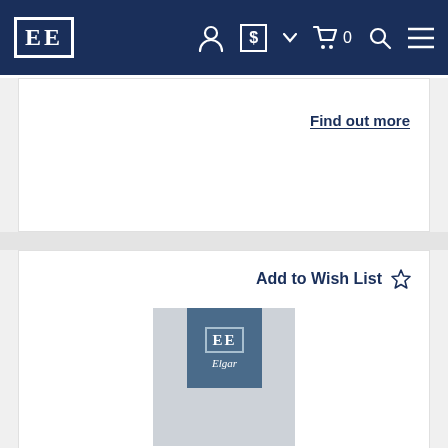EE [logo] — navigation bar with account, currency ($), cart (0), search, and menu icons
Find out more
Add to Wish List ☆
[Figure (logo): Edward Elgar Publishing logo — EE letters in serif font inside a square border, with 'Elgar' text below, on a blue background]